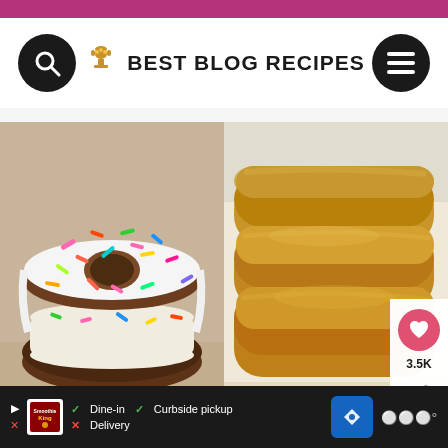BEST BLOG RECIPES
[Figure (photo): Frosted donut cake with white icing and colorful sprinkles]
[Figure (photo): Maple glazed long john bars with golden-brown frosting, watermark THEBESTBLOGRECIPES.C with heart and share buttons showing 3.5K]
[Figure (photo): Blue video area with WHAT'S NEXT label and Cinnamon Dessert... thumbnail]
WHAT'S NEXT → Cinnamon Dessert...
Dine-in  Curbside pickup  Delivery